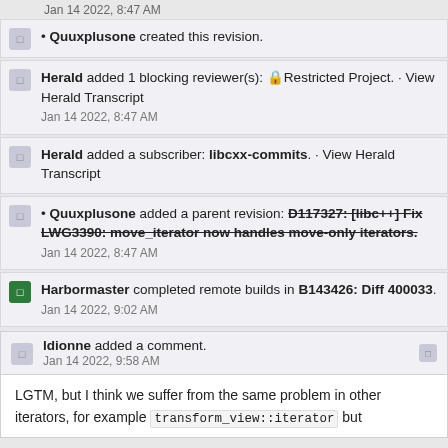Jan 14 2022, 8:47 AM
• Quuxplusone created this revision.
Herald added 1 blocking reviewer(s): 🔒 Restricted Project. · View Herald Transcript
Jan 14 2022, 8:47 AM
Herald added a subscriber: libcxx-commits. · View Herald Transcript
• Quuxplusone added a parent revision: D117327: [libc++] Fix LWG3390: move_iterator now handles move-only iterators.
Jan 14 2022, 8:47 AM
Harbormaster completed remote builds in B143426: Diff 400033.
Jan 14 2022, 9:02 AM
ldionne added a comment.
Jan 14 2022, 9:58 AM
LGTM, but I think we suffer from the same problem in other iterators, for example transform_view::iterator but